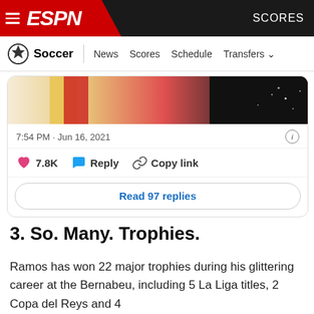ESPN Soccer | News  Scores  Schedule  Transfers
[Figure (screenshot): Partial tweet card showing a soccer image with gold/red jersey and dark background]
7:54 PM · Jun 16, 2021
7.8K   Reply   Copy link
Read 97 replies
3. So. Many. Trophies.
Ramos has won 22 major trophies during his glittering career at the Bernabeu, including 5 La Liga titles, 2 Copa del Reys and 4